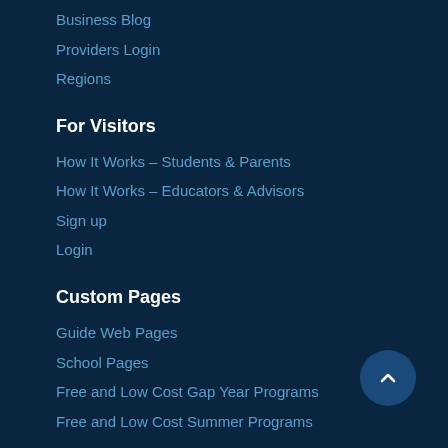Business Blog
Providers Login
Regions
For Visitors
How It Works – Students & Parents
How It Works – Educators & Advisors
Sign up
Login
Custom Pages
Guide Web Pages
School Pages
Free and Low Cost Gap Year Programs
Free and Low Cost Summer Programs
Who We Are
About Us